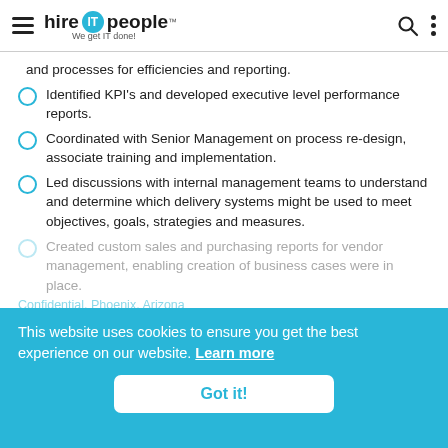hire IT people — We get IT done!
and processes for efficiencies and reporting.
Identified KPI's and developed executive level performance reports.
Coordinated with Senior Management on process re-design, associate training and implementation.
Led discussions with internal management teams to understand and determine which delivery systems might be used to meet objectives, goals, strategies and measures.
Created custom sales and purchasing reports for vendor management, enabling creation of business cases were in place.
Confidential, Phoenix, Arizona
Finance Manager
Responsibilities:
This website uses cookies to ensure you get the best experience on our website. Learn more
Got it!